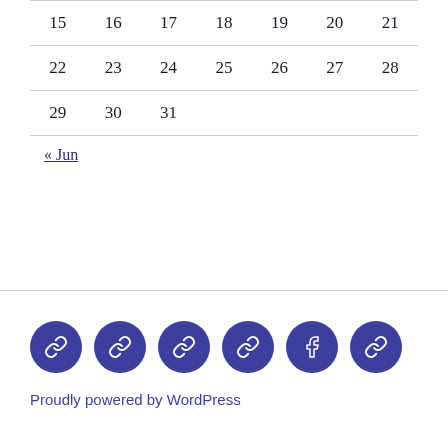| 15 | 16 | 17 | 18 | 19 | 20 | 21 |
| 22 | 23 | 24 | 25 | 26 | 27 | 28 |
| 29 | 30 | 31 |  |  |  |  |
« Jun
[Figure (infographic): Six circular social media icon buttons with dark navy/indigo background: five chain/link icons and one Facebook icon]
Proudly powered by WordPress